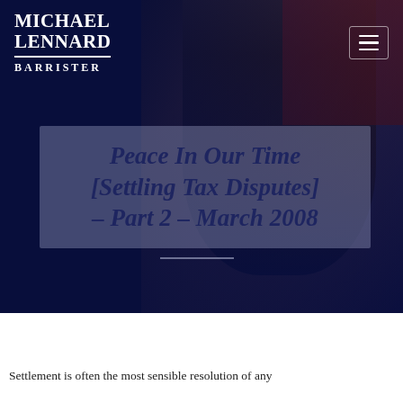[Figure (photo): Hero banner with dark navy background and faint figure of a person in suit. Michael Lennard Barrister logo top left, hamburger menu icon top right.]
Peace In Our Time [Settling Tax Disputes] – Part 2 – March 2008
Settlement is often the most sensible resolution of any